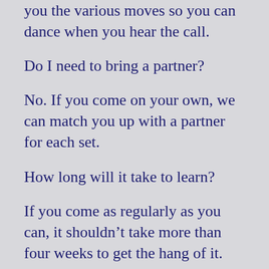Usually the sets are called. We will teach you the various moves so you can dance when you hear the call.
Do I need to bring a partner?
No. If you come on your own, we can match you up with a partner for each set.
How long will it take to learn?
If you come as regularly as you can, it shouldn’t take more than four weeks to get the hang of it. You should be able to join in on week one.
Where are the classes?